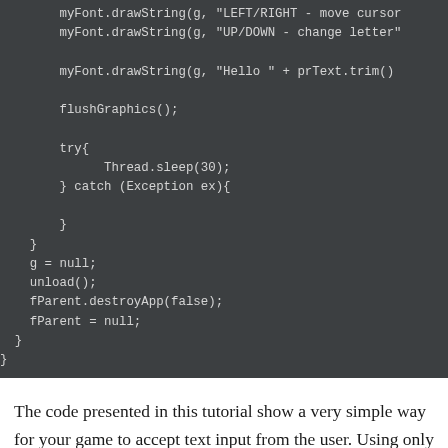[Figure (screenshot): Code snippet in a dark IDE-style background showing Java code with myFont.drawString calls, flushGraphics, try-catch block, and cleanup code (g=null, unload, fParent.destroyApp, fParent=null)]
The code presented in this tutorial show a very simple way for your game to accept text input from the user. Using only directional keys/buttons, the player is able to enter his or...